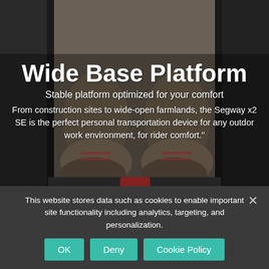[Figure (photo): Close-up photo of a person's feet/shoes on a wide platform base, taken from above. Dark background with equipment visible on sides.]
Wide Base Platform
Stable platform optimized for your comfort
From construction sites to wide-open farmlands, the Segway x2 SE is the perfect personal transportation device for any outdor work environment, for rider comfort."
This website stores data such as cookies to enable important site functionality including analytics, targeting, and personalization.